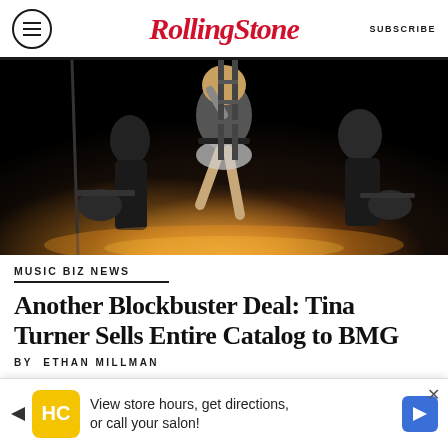Rolling Stone | SUBSCRIBE
[Figure (photo): Concert performance photo showing a female performer on stage raising her leg, flanked by two guitarists, with stage lighting in background]
MUSIC BIZ NEWS
Another Blockbuster Deal: Tina Turner Sells Entire Catalog to BMG
BY ETHAN MILLMAN
[Figure (other): Advertisement banner: View store hours, get directions, or call your salon! with HC logo]